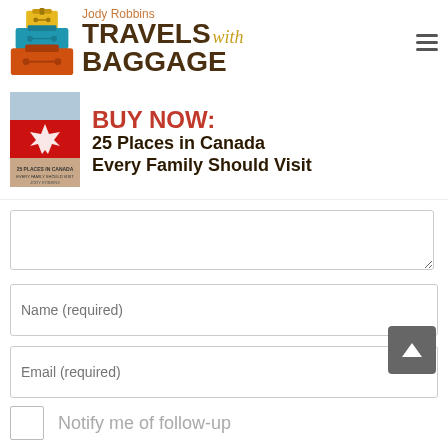[Figure (logo): Jody Robbins Travels with Baggage logo with stacked suitcases illustration and hamburger menu icon]
[Figure (illustration): Book cover for '25 Places in Canada Every Family Should Visit' with BUY NOW call to action]
Name (required)
Email (required)
Notify me of follow-up